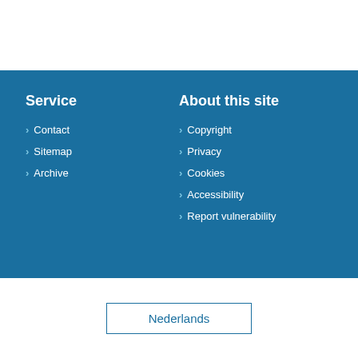Service
Contact
Sitemap
Archive
About this site
Copyright
Privacy
Cookies
Accessibility
Report vulnerability
Nederlands